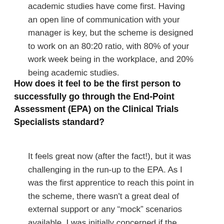academic studies have come first. Having an open line of communication with your manager is key, but the scheme is designed to work on an 80:20 ratio, with 80% of your work week being in the workplace, and 20% being academic studies.
How does it feel to be the first person to successfully go through the End-Point Assessment (EPA) on the Clinical Trials Specialists standard?
It feels great now (after the fact!), but it was challenging in the run-up to the EPA. As I was the first apprentice to reach this point in the scheme, there wasn't a great deal of external support or any “mock” scenarios available. I was initially concerned if the professional discussion element would flow, or if my experiences would correlate well to the questions asked. Despite these